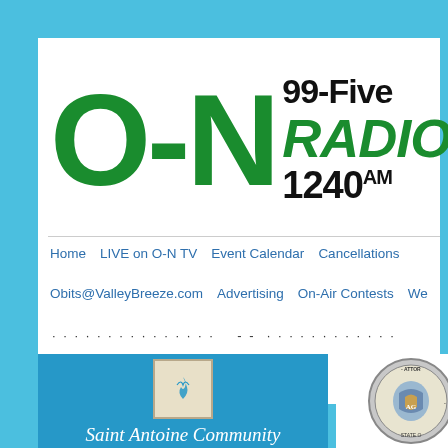[Figure (logo): O-N Radio logo: large green O-N letters with '99-Five RADIO 1240 AM' text in black and green]
Home    LIVE on O-N TV    Event Calendar    Cancellations    Obits@ValleyBreeze.com    Advertising    On-Air Contests    We...
[Figure (illustration): Saint Antoine Community advertisement: blue background with logo box, script text 'Saint Antoine Community', bold text 'The Ultimate in Assisted Living']
[Figure (logo): Attorney General Office of the... partial seal/logo visible at right]